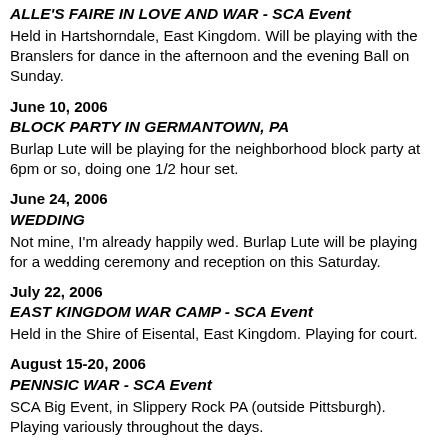ALLE'S FAIRE IN LOVE AND WAR - SCA Event
Held in Hartshorndale, East Kingdom. Will be playing with the Branslers for dance in the afternoon and the evening Ball on Sunday.
June 10, 2006
BLOCK PARTY IN GERMANTOWN, PA
Burlap Lute will be playing for the neighborhood block party at 6pm or so, doing one 1/2 hour set.
June 24, 2006
WEDDING
Not mine, I'm already happily wed. Burlap Lute will be playing for a wedding ceremony and reception on this Saturday.
July 22, 2006
EAST KINGDOM WAR CAMP - SCA Event
Held in the Shire of Eisental, East Kingdom. Playing for court.
August 15-20, 2006
PENNSIC WAR - SCA Event
SCA Big Event, in Slippery Rock PA (outside Pittsburgh). Playing variously throughout the days.